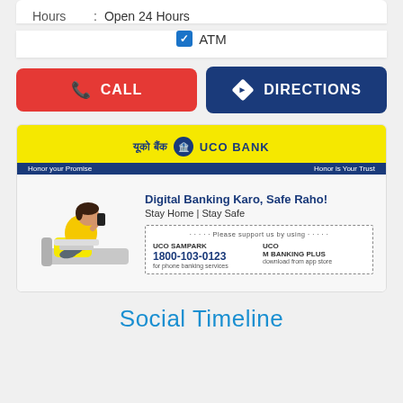Hours : Open 24 Hours
✓ ATM
CALL
DIRECTIONS
[Figure (infographic): UCO Bank advertisement banner showing a woman in a yellow sweater sitting on a sofa with a laptop and phone. Text reads: Digital Banking Karo, Safe Raho! Stay Home | Stay Safe. Please support us by using UCO SAMPARK 1800-103-0123 for phone banking services and UCO M BANKING PLUS download from app store.]
Social Timeline